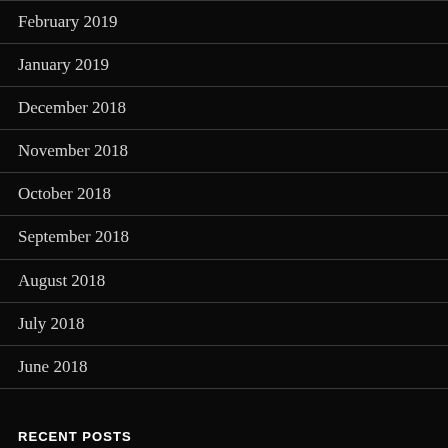February 2019
January 2019
December 2018
November 2018
October 2018
September 2018
August 2018
July 2018
June 2018
RECENT POSTS
Sunday Morning Song – John Hiatt – The Music is Hot November 21, 2021